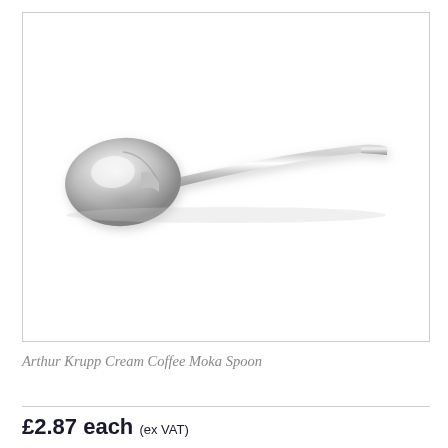[Figure (photo): A stainless steel coffee moka spoon (Arthur Krupp Cream Coffee Moka Spoon) photographed on a white background, showing a polished silver spoon with an oval bowl on the left and a long thin handle tapering to the right.]
Arthur Krupp Cream Coffee Moka Spoon
£2.87 each (ex VAT)